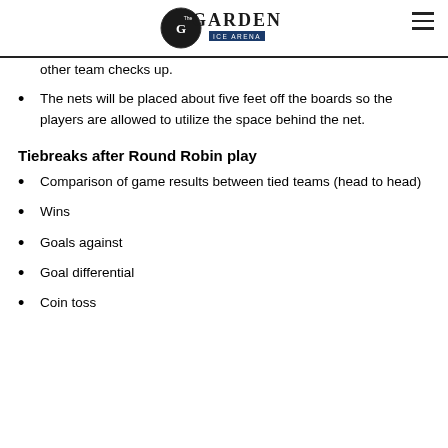The Garden Ice Arena
other team checks up.
The nets will be placed about five feet off the boards so the players are allowed to utilize the space behind the net.
Tiebreaks after Round Robin play
Comparison of game results between tied teams (head to head)
Wins
Goals against
Goal differential
Coin toss